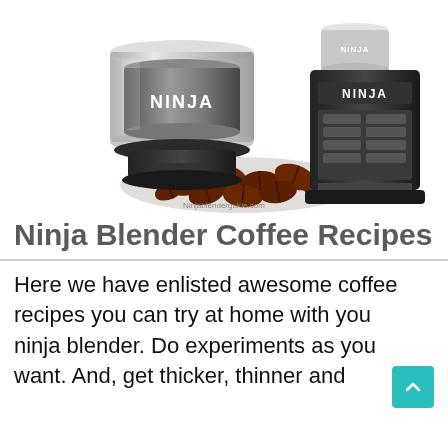[Figure (photo): Two Ninja branded kitchen appliances (a coffee/spice grinder and a blender) surrounded by scattered dark roasted coffee beans on a white background. Watermark text 'Ninjablenderguide.com' visible at bottom of image.]
Ninja Blender Coffee Recipes
Here we have enlisted awesome coffee recipes you can try at home with your ninja blender. Do experiments as you want. And, get thicker, thinner and